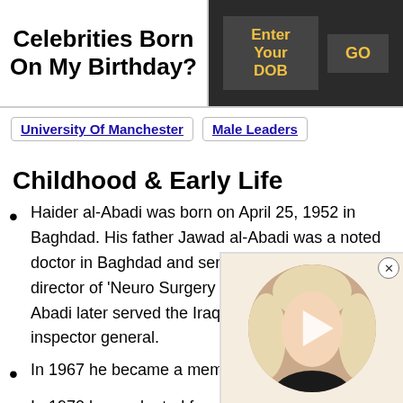Celebrities Born On My Birthday?
Enter Your DOB   GO
University Of Manchester | Male Leaders
Childhood & Early Life
Haider al-Abadi was born on April 25, 1952 in Baghdad. His father Jawad al-Abadi was a noted doctor in Baghdad and served as management director of 'Neuro Surgery Hospital'. Jawad al-Abadi later served the Iraq Health Ministry as an inspector general.
In 1967 he became a mem
In 1970 he graduated from
[Figure (photo): Circular video thumbnail showing a blonde woman, with a play button overlay and a close (X) button in the top right corner.]